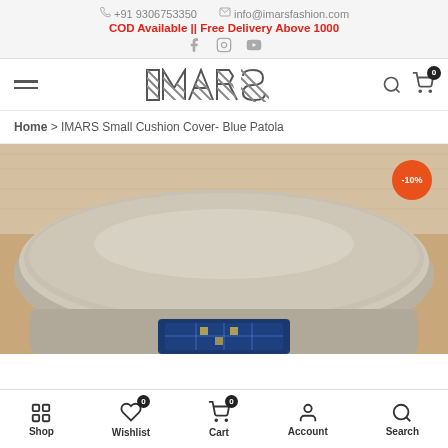+91 9306753350  info@imarsfashion.com
COD Available || Free Delivery Above 1000
[Figure (logo): IMARS fashion brand logo with decorative striped letters]
Home > IMARS Small Cushion Cover- Blue Patola
[Figure (photo): Product photo of a blue Patola cushion cover on a grey sofa. Orange badge showing -10% discount.]
Shop  Wishlist (0)  Cart (0)  Account  Search